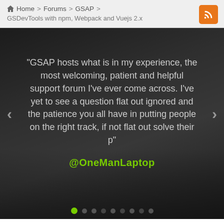Home > Forums > GSAP > GSDevTools with npm, Webpack and Vuejs 2.x
[Figure (screenshot): Dark testimonial slider showing quote from @OneManLaptop about GSAP forums being welcoming, patient and helpful, with navigation arrows and dot indicators]